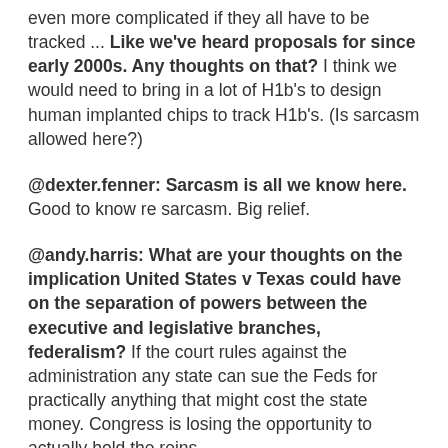even more complicated if they all have to be tracked ... Like we've heard proposals for since early 2000s. Any thoughts on that? I think we would need to bring in a lot of H1b's to design human implanted chips to track H1b's. (Is sarcasm allowed here?)
@dexter.fenner: Sarcasm is all we know here. Good to know re sarcasm. Big relief.
@andy.harris: What are your thoughts on the implication United States v Texas could have on the separation of powers between the executive and legislative branches, federalism? If the court rules against the administration any state can sue the Feds for practically anything that might cost the state money. Congress is losing the opportunity to actually hold the reins.